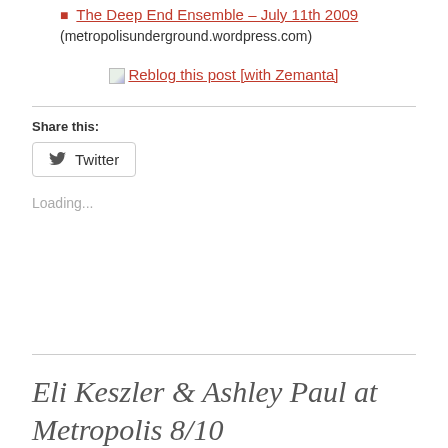The Deep End Ensemble – July 11th 2009 (metropolisunderground.wordpress.com)
[Figure (other): Reblog this post [with Zemanta] button/link with small image icon]
Share this:
Twitter
Loading...
Eli Keszler & Ashley Paul at Metropolis 8/10